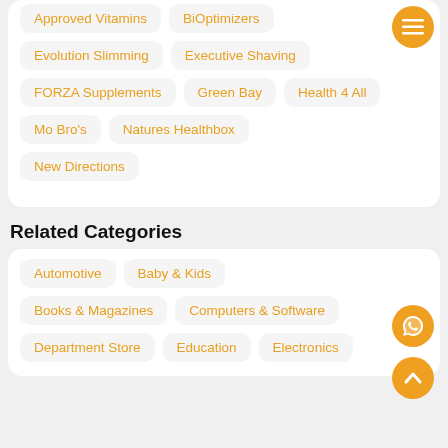Approved Vitamins
BiOptimizers
Evolution Slimming
Executive Shaving
FORZA Supplements
Green Bay
Health 4 All
Mo Bro's
Natures Healthbox
New Directions
Related Categories
Automotive
Baby & Kids
Books & Magazines
Computers & Software
Department Store
Education
Electronics